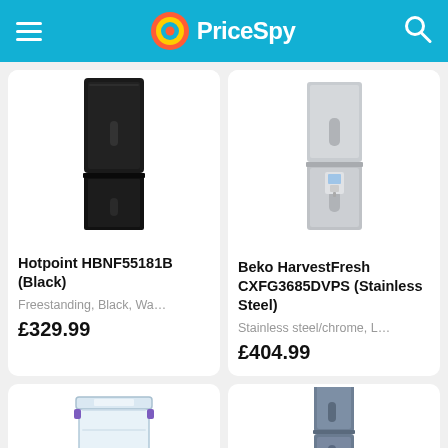PriceSpy
[Figure (photo): Hotpoint HBNF55181B fridge-freezer in black color]
Hotpoint HBNF55181B (Black)
Freestanding, Black, Wa…
£329.99
[Figure (photo): Beko HarvestFresh CXFG3685DVPS fridge-freezer in stainless steel with water dispenser]
Beko HarvestFresh CXFG3685DVPS (Stainless Steel)
Stainless steel/chrome, L…
£404.99
[Figure (photo): Clear plastic storage container with purple clip handles]
[Figure (photo): Blue/slate colored fridge freezer]